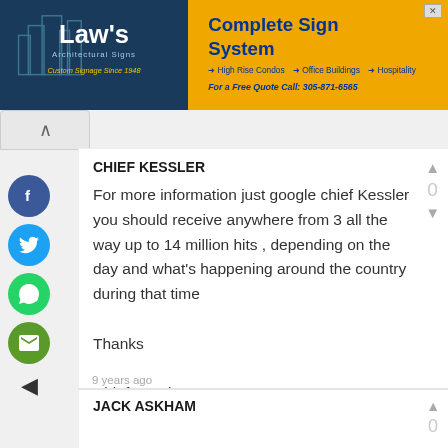[Figure (screenshot): Law's Architectural Signs company logo and ad banner on dark blue background with gold tagline 'Custom Signage Since 1948']
[Figure (screenshot): Complete Sign Systems advertisement banner with orange/gold background promoting High Rise Condos, Office Buildings, Hospitality. Phone: 305-871-6565]
CHIEF KESSLER
For more information just google chief Kessler you should receive anywhere from 3 all the way up to 14 million hits , depending on the day and what's happening around the country during that time

Thanks

Chief Kessler
9 years ago
JACK ASKHAM